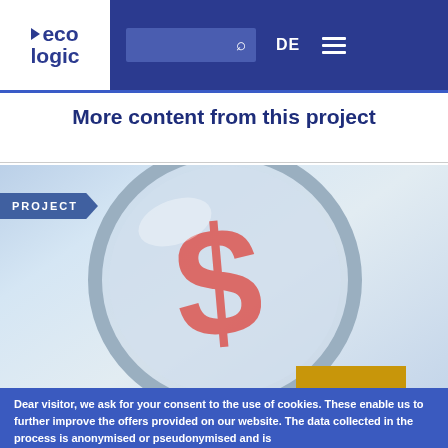eco logic | DE
More content from this project
[Figure (photo): Photo of a magnifying glass focusing on a red dollar sign symbol against a blurred sky/cloud background, with a 'PROJECT' label overlay in the top-left and a gold/yellow rectangle at bottom right]
Dear visitor, we ask for your consent to the use of cookies. These enable us to further improve the offers provided on our website. The data collected in the process is anonymised or pseudonymised and is